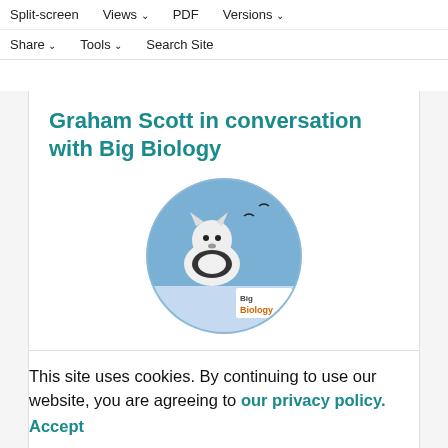Split-screen | Views | PDF | Versions | Share | Tools | Search Site
Graham Scott in conversation with Big Biology
[Figure (illustration): Big Biology podcast logo: circular image with an illustrated fox or small mammal in a blue wintry scene, with 'Big Biology' text in the lower right]
Graham Scott talks to Big Biology
This site uses cookies. By continuing to use our website, you are agreeing to our privacy policy. Accept